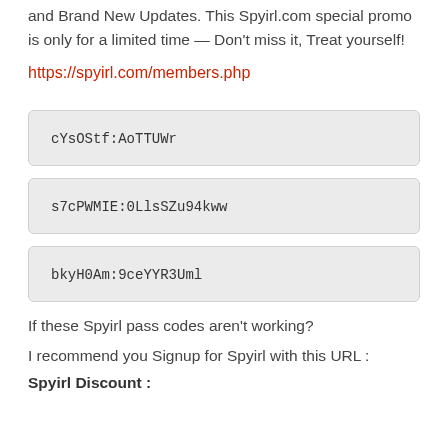and Brand New Updates. This Spyirl.com special promo is only for a limited time — Don't miss it, Treat yourself!
https://spyirl.com/members.php
cYsOStf:AoTTUWr
s7cPWMIE:0LlsSZu94kww
bkyH0Am:9ceYYR3Uml
If these Spyirl pass codes aren't working?
I recommend you Signup for Spyirl with this URL :
Spyirl Discount :